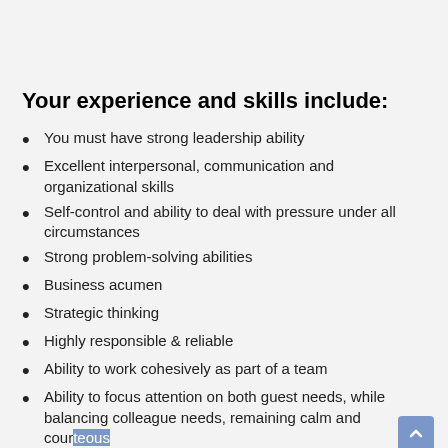Your experience and skills include:
You must have strong leadership ability
Excellent interpersonal, communication and organizational skills
Self-control and ability to deal with pressure under all circumstances
Strong problem-solving abilities
Business acumen
Strategic thinking
Highly responsible & reliable
Ability to work cohesively as part of a team
Ability to focus attention on both guest needs, while balancing colleague needs, remaining calm and courteous
Our commitment to Diversity & Inclusion:
We are an inclusive company and our ambition is to